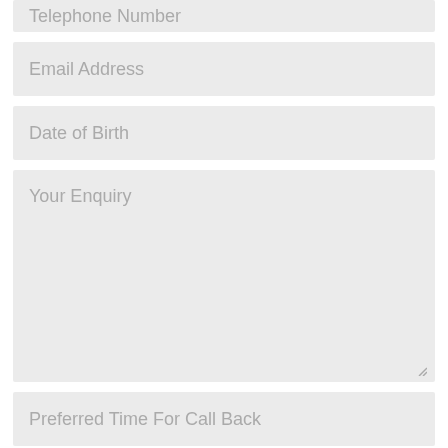Telephone Number
Email Address
Date of Birth
Your Enquiry
Preferred Time For Call Back
Submit